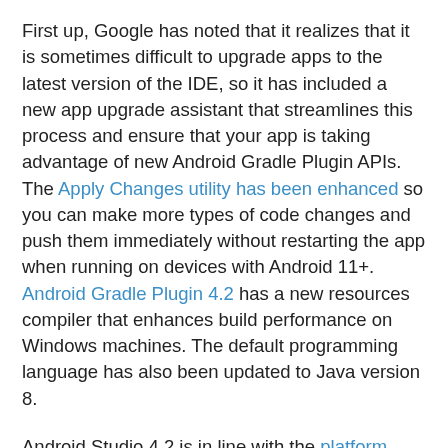First up, Google has noted that it realizes that it is sometimes difficult to upgrade apps to the latest version of the IDE, so it has included a new app upgrade assistant that streamlines this process and ensure that your app is taking advantage of new Android Gradle Plugin APIs. The Apply Changes utility has been enhanced so you can make more types of code changes and push them immediately without restarting the app when running on devices with Android 11+. Android Gradle Plugin 4.2 has a new resources compiler that enhances build performance on Windows machines. The default programming language has also been updated to Java version 8.
Android Studio 4.2 is in line with the platform updates present in IntelliJ IDEA Community Edition 2020.2, which features a window showing problems in a centralized UI